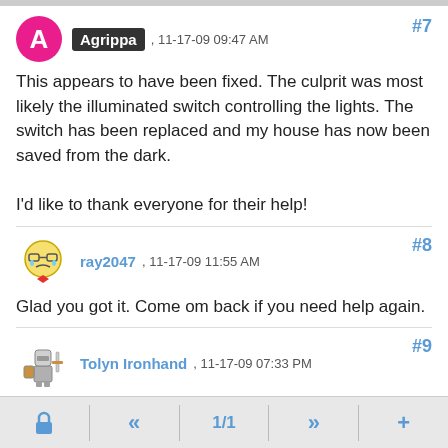Agrippa , 11-17-09 09:47 AM #7
This appears to have been fixed. The culprit was most likely the illuminated switch controlling the lights. The switch has been replaced and my house has now been saved from the dark.

I'd like to thank everyone for their help!
ray2047 , 11-17-09 11:55 AM #8
Glad you got it. Come om back if you need help again.
Tolyn Ironhand , 11-17-09 07:33 PM #9
Congratulations on finding your problem. Beer 4U2
ADVERTISEMENT
🔒  «  1/1  »  +